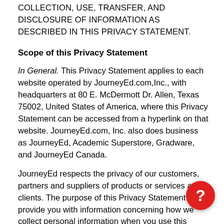COLLECTION, USE, TRANSFER, AND DISCLOSURE OF INFORMATION AS DESCRIBED IN THIS PRIVACY STATEMENT.
Scope of this Privacy Statement
In General. This Privacy Statement applies to each website operated by JourneyEd.com,Inc., with headquarters at 80 E. McDermott Dr. Allen, Texas 75002, United States of America, where this Privacy Statement can be accessed from a hyperlink on that website. JourneyEd.com, Inc. also does business as JourneyEd, Academic Superstore, Gradware, and JourneyEd Canada.
JourneyEd respects the privacy of our customers, partners and suppliers of products or services and clients. The purpose of this Privacy Statement is to provide you with information concerning how we collect personal information when you use this website, and how we collect